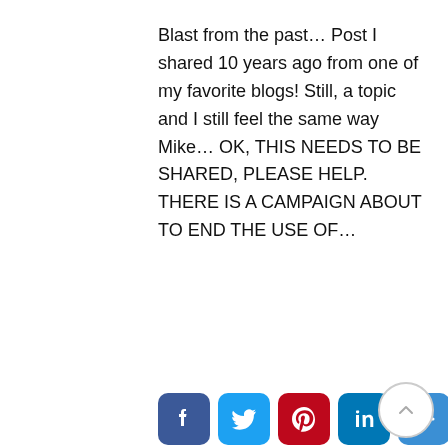Blast from the past… Post I shared 10 years ago from one of my favorite blogs! Still, a topic and I still feel the same way Mike… OK, THIS NEEDS TO BE SHARED, PLEASE HELP. THERE IS A CAMPAIGN ABOUT TO END THE USE OF…
[Figure (other): Social sharing buttons: Facebook (blue), Twitter (light blue), Pinterest (red), LinkedIn (teal), More/Share (blue)]
ALTERNATIVE BEHAVIORS, ASSOCIATIONS, CRATE, CRATE TRAINING, DOG TRAINING, GENERAL, KEEP IT SIMPLE STUPID DOG